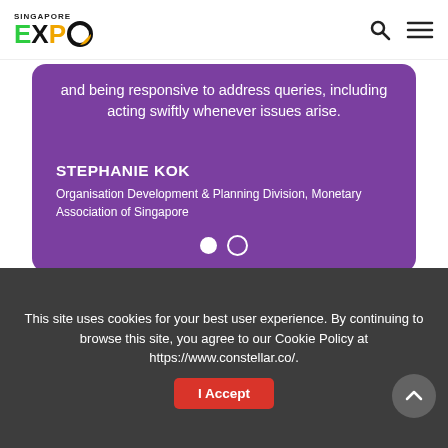Singapore Expo
and being responsive to address queries, including acting swiftly whenever issues arise.
STEPHANIE KOK
Organisation Development & Planning Division, Monetary Association of Singapore
This site uses cookies for your best user experience. By continuing to browse this site, you agree to our Cookie Policy at https://www.constellar.co/.